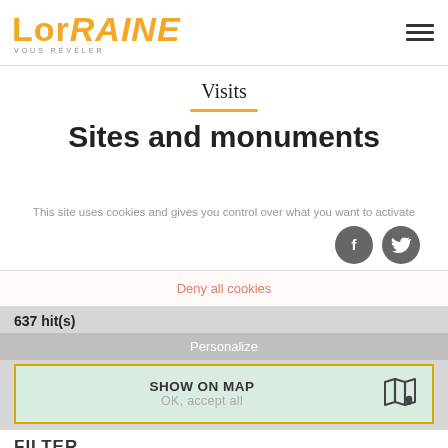Lor RAINE VOUS RÉVÉLER
Visits
Sites and monuments
This site uses cookies and gives you control over what you want to activate
Deny all cookies
637 hit(s)
Personalize
SHOW ON MAP
OK, accept all
FILTER